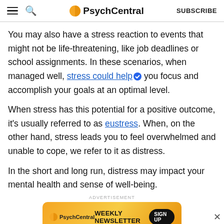PsychCentral — SUBSCRIBE
You may also have a stress reaction to events that might not be life-threatening, like job deadlines or school assignments. In these scenarios, when managed well, stress could help you focus and accomplish your goals at an optimal level.
When stress has this potential for a positive outcome, it's usually referred to as eustress. When, on the other hand, stress leads you to feel overwhelmed and unable to cope, we refer to it as distress.
In the short and long run, distress may impact your mental health and sense of well-being.
[Figure (screenshot): PsychCentral weekly newsletter advertisement banner with orange gradient background, logo, headline 'WEEKLY NEWSLETTER' and a 'SIGN UP' button]